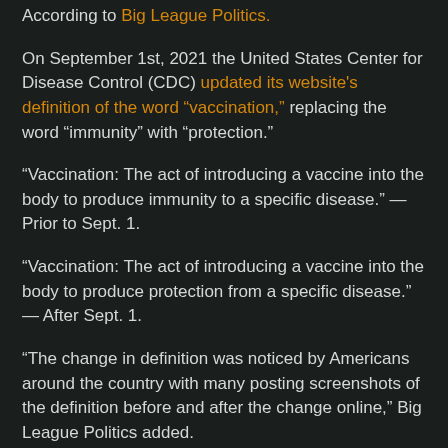According to Big League Politics.
On September 1st, 2021 the United States Center for Disease Control (CDC) updated its website's definition of the word “vaccination,” replacing the word “immunity” with “protection.”
“Vaccination: The act of introducing a vaccine into the body to produce immunity to a specific disease.” — Prior to Sept. 1.
“Vaccination: The act of introducing a vaccine into the body to produce protection from a specific disease.” — After Sept. 1.
“The change in definition was noticed by Americans around the country with many posting screenshots of the definition before and after the change online,” Big League Politics added.